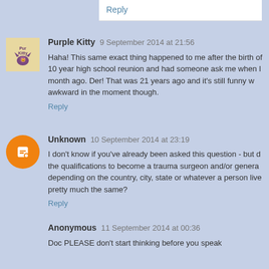Reply
Purple Kitty  9 September 2014 at 21:56
Haha! This same exact thing happened to me after the birth of 10 year high school reunion and had someone ask me when I month ago. Der! That was 21 years ago and it's still funny w awkward in the moment though.
Reply
Unknown  10 September 2014 at 23:19
I don't know if you've already been asked this question - but the qualifications to become a trauma surgeon and/or genera depending on the country, city, state or whatever a person live pretty much the same?
Reply
Anonymous  11 September 2014 at 00:36
Doc PLEASE don't start thinking before you speak